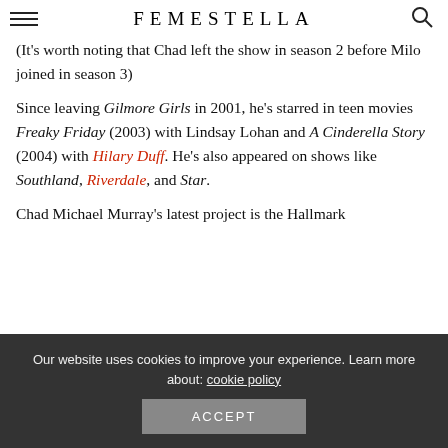FEMESTELLA
(It's worth noting that Chad left the show in season 2 before Milo joined in season 3)
Since leaving Gilmore Girls in 2001, he's starred in teen movies Freaky Friday (2003) with Lindsay Lohan and A Cinderella Story (2004) with Hilary Duff. He's also appeared on shows like Southland, Riverdale, and Star.
Chad Michael Murray's latest project is the Hallmark
Our website uses cookies to improve your experience. Learn more about: cookie policy
ACCEPT